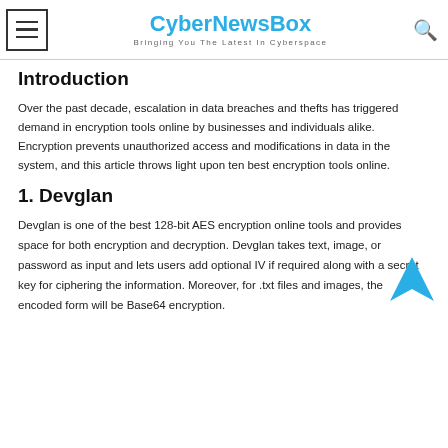CyberNewsBox – Bringing You The Latest In Cyberspace
Introduction
Over the past decade, escalation in data breaches and thefts has triggered demand in encryption tools online by businesses and individuals alike. Encryption prevents unauthorized access and modifications in data in the system, and this article throws light upon ten best encryption tools online.
1. Devglan
Devglan is one of the best 128-bit AES encryption online tools and provides space for both encryption and decryption. Devglan takes text, image, or password as input and lets users add optional IV if required along with a secret key for ciphering the information. Moreover, for .txt files and images, the encoded form will be Base64 encryption.